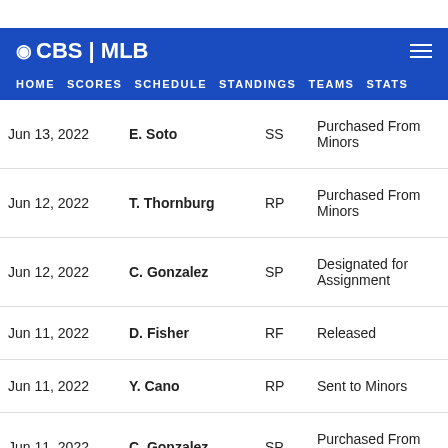CBS | MLB — HOME  SCORES  SCHEDULE  STANDINGS  TEAMS  STATS
| Date | Player | Pos | Transaction |
| --- | --- | --- | --- |
| Jun 13, 2022 | E. Soto | SS | Purchased From Minors |
| Jun 12, 2022 | T. Thornburg | RP | Purchased From Minors |
| Jun 12, 2022 | C. Gonzalez | SP | Designated for Assignment |
| Jun 11, 2022 | D. Fisher | RF | Released |
| Jun 11, 2022 | Y. Cano | RP | Sent to Minors |
| Jun 11, 2022 | C. Gonzalez | SP | Purchased From Minors |
| Jun 11, 2022 | R. Lewis | SS | Transferred to 60-Day IL (Right knee surgery - out (continued)) |